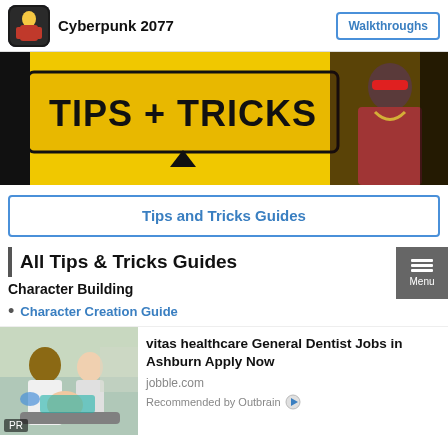Cyberpunk 2077  |  Walkthroughs
[Figure (illustration): Cyberpunk 2077 Tips + Tricks banner image with yellow background and character with red visor]
Tips and Tricks Guides
All Tips & Tricks Guides
Character Building
Character Creation Guide
[Figure (photo): Advertisement photo showing dental professionals with patient]
vitas healthcare General Dentist Jobs in Ashburn Apply Now
jobble.com
Recommended by Outbrain